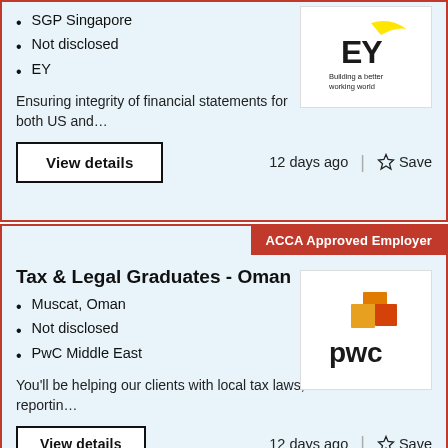SGP Singapore
Not disclosed
EY
Ensuring integrity of financial statements for both US and…
View details
12 days ago
Save
[Figure (logo): EY logo with tagline 'Building a better working world']
ACCA Approved Employer
Tax & Legal Graduates - Oman
Muscat, Oman
Not disclosed
PwC Middle East
You'll be helping our clients with local tax laws, reportin…
View details
12 days ago
Save
[Figure (logo): PwC logo with coloured blocks and 'pwc' wordmark]